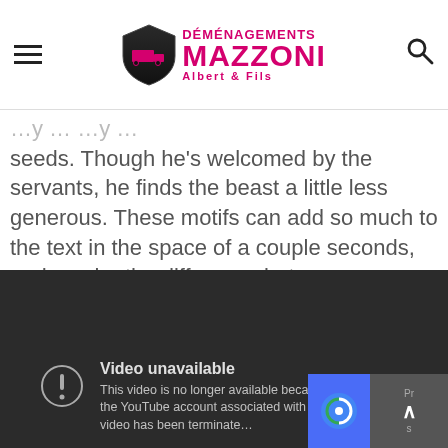DÉMÉNAGEMENTS MAZZONI Albert & Fils
seeds. Though he's welcomed by the servants, he finds the beast a little less generous. These motifs can add so much to the text in the space of a couple seconds, and can be the difference between a mundane scene and a meaningful one.
[Figure (screenshot): Embedded YouTube video player showing 'Video unavailable' error message: 'This video is no longer available because the YouTube account associated with this video has been terminated.']